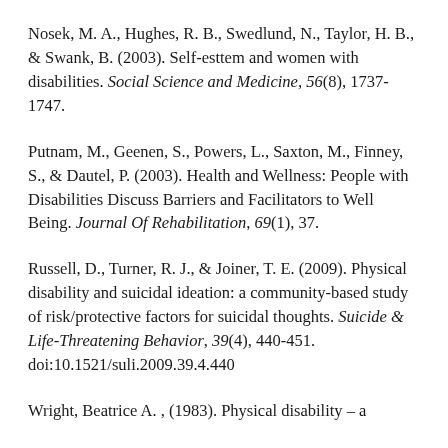Nosek, M. A., Hughes, R. B., Swedlund, N., Taylor, H. B., & Swank, B. (2003). Self-esttem and women with disabilities. Social Science and Medicine, 56(8), 1737-1747.
Putnam, M., Geenen, S., Powers, L., Saxton, M., Finney, S., & Dautel, P. (2003). Health and Wellness: People with Disabilities Discuss Barriers and Facilitators to Well Being. Journal Of Rehabilitation, 69(1), 37.
Russell, D., Turner, R. J., & Joiner, T. E. (2009). Physical disability and suicidal ideation: a community-based study of risk/protective factors for suicidal thoughts. Suicide & Life-Threatening Behavior, 39(4), 440-451. doi:10.1521/suli.2009.39.4.440
Wright, Beatrice A. , (1983). Physical disability – a